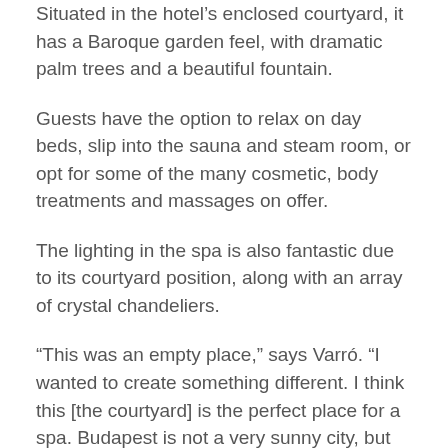Situated in the hotel's enclosed courtyard, it has a Baroque garden feel, with dramatic palm trees and a beautiful fountain.
Guests have the option to relax on day beds, slip into the sauna and steam room, or opt for some of the many cosmetic, body treatments and massages on offer.
The lighting in the spa is also fantastic due to its courtyard position, along with an array of crystal chandeliers.
“This was an empty place,” says Varró. “I wanted to create something different. I think this [the courtyard] is the perfect place for a spa. Budapest is not a very sunny city, but it’s always summer here.”
Its center piece is undoubtedly the magnificent whirlpool, which provides a fantastic view of the facade of the building.
“We don’t have thermal waters here, but we do have